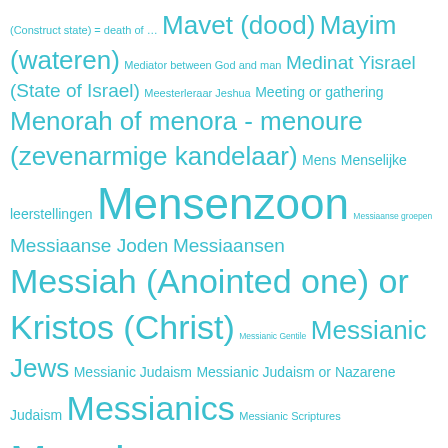(Construct state) = death of … Mavet (dood) Mayim (wateren) Mediator between God and man Medinat Yisrael (State of Israel) Meesterleraar Jeshua Meeting or gathering Menorah of menora - menoure (zevenarmige kandelaar) Mens Menselijke leerstellingen Mensenzoon Messiaanse groepen Messiaanse Joden Messiaansen Messiah (Anointed one) or Kristos (Christ) Messianic Gentile Messianic Jews Messianic Judaism Messianic Judaism or Nazarene Judaism Messianics Messianic Scriptures Messias Messias belijdende Joden Methuselah or Methusael (son of Enoch/Hanokh + father of Lamech) Mitzvot (commandments) Mitzvot (geboden) Moshiach of Mashiach (Gezalfde) Most High Elohim Muslims Naaktheid Naam van God Naastenliefde Nachash (bedrog of verleiding = slang of serpent) Nachash (deception or temptation = snake or serpent) Nazaat